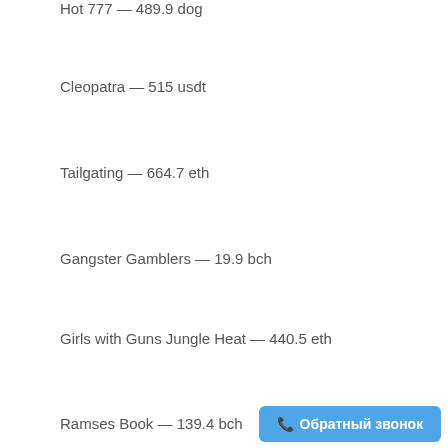Hot 777 — 489.9 dog
Cleopatra — 515 usdt
Tailgating — 664.7 eth
Gangster Gamblers — 19.9 bch
Girls with Guns Jungle Heat — 440.5 eth
Ramses Book — 139.4 bch